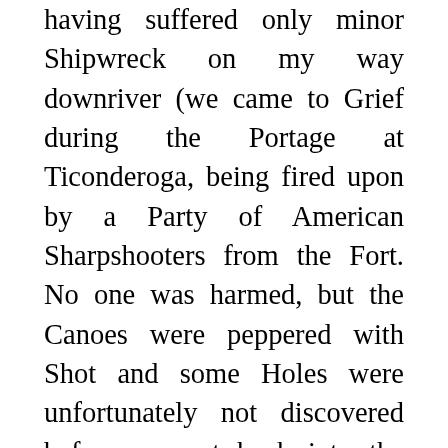having suffered only minor Shipwreck on my way downriver (we came to Grief during the Portage at Ticonderoga, being fired upon by a Party of American Sharpshooters from the Fort. No one was harmed, but the Canoes were peppered with Shot and some Holes were unfortunately not discovered before we put back into the Water, whereupon two of them sank abruptly), this followed by waist-deep Mud and the reemergence of carnivorous Insects when I took to the Roads. Since my Return, though, we have done little of interest, though there are constant rumors of what we may do. Finding that Inactivity chafes more in what you may call a civilized